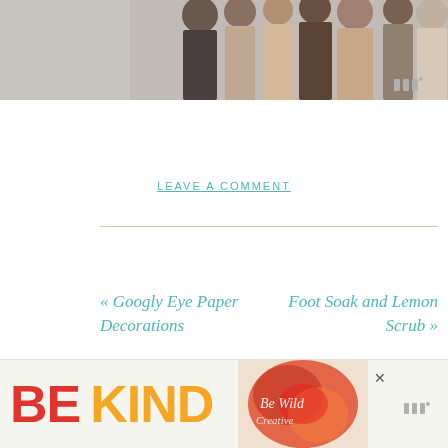[Figure (photo): A group of people standing together, partial view of lower halves/torsos, cropped at top of page]
LEAVE A COMMENT
« Googly Eye Paper Decorations
Foot Soak and Lemon Scrub »
Leave a Reply
[Figure (infographic): Bottom banner advertisement showing 'BE KIND' in large red and yellow text, with a decorative Be Wild style floral image on the right, and a close X button]